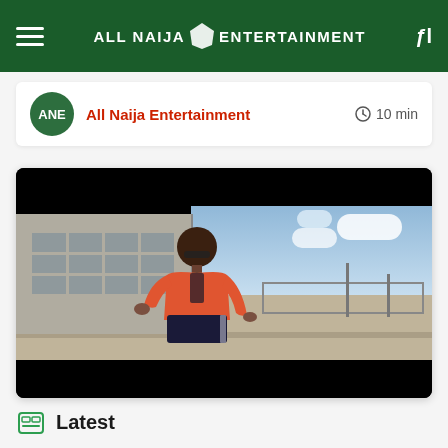ALL NAIJA ENTERTAINMENT
All Naija Entertainment
10 min
[Figure (photo): A person wearing an orange jacket sitting/crouching in an outdoor industrial area with a building on the left and a fence on the right, under a cloudy sky. This appears to be a music video screenshot.]
Latest